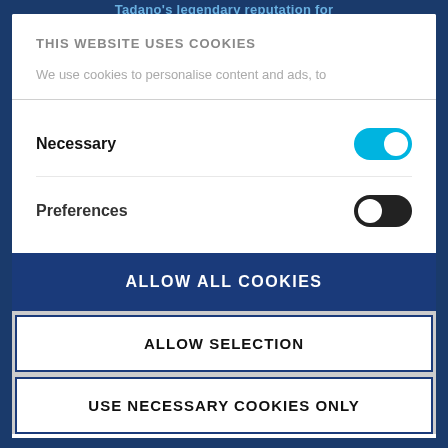Tadano's legendary reputation for
THIS WEBSITE USES COOKIES
We use cookies to personalise content and ads, to
Necessary
Preferences
ALLOW ALL COOKIES
ALLOW SELECTION
USE NECESSARY COOKIES ONLY
Powered by Cookiebot by Usercentrics